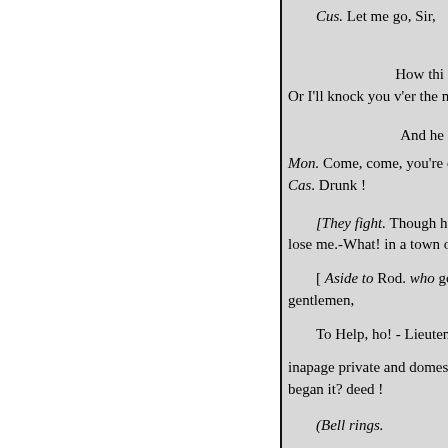Cus. Let me go, Sir,
How thi
Or I'll knock you v'er the m
And he
Mon. Come, come, you're d
Cas. Drunk !
[They fight. Though he had tw
lose me.-What! in a town of war
[ Aside to Rod. who goes out.
gentlemen,
To Help, ho! - Lieutenant, -Sir
inapage private and domestic qu
began it? deed !
(Bell rings.
Mon. If partially affin'd,g or l
Thou dost deliver more or less
You will be sham'd for ever.